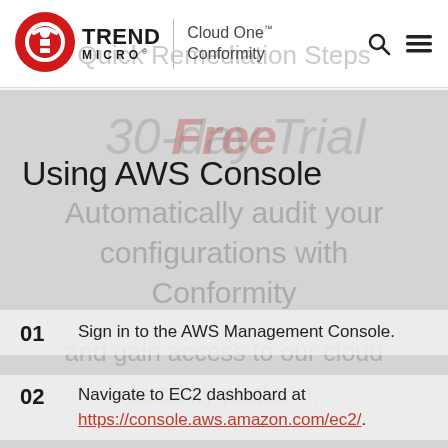Trend Micro | Cloud One™ Conformity
Using AWS Console
01  Sign in to the AWS Management Console.
02  Navigate to EC2 dashboard at https://console.aws.amazon.com/ec2/.